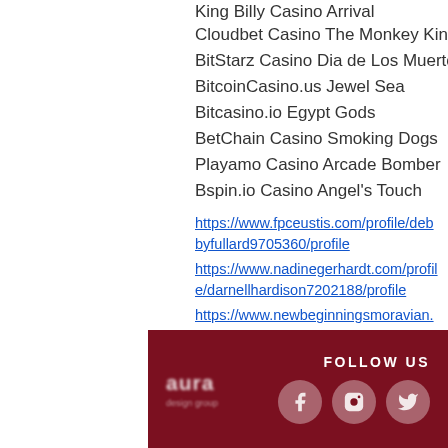King Billy Casino Arrival
Cloudbet Casino The Monkey King
BitStarz Casino Dia de Los Muertos
BitcoinCasino.us Jewel Sea
Bitcasino.io Egypt Gods
BetChain Casino Smoking Dogs
Playamo Casino Arcade Bomber
Bspin.io Casino Angel's Touch
https://www.fpceustis.com/profile/debbyfullard9705360/profile https://www.nadinegerhardt.com/profile/darnellhardison7202188/profile https://www.newbeginningsmoravian.org/profile/louieloges2622823/profile https://www.linzvonc.co.uk/profile/bridgettekofron16639758/profile
[Figure (logo): Dark red footer bar with blurred logo on the left and FOLLOW US text with three circular social media icons on the right]